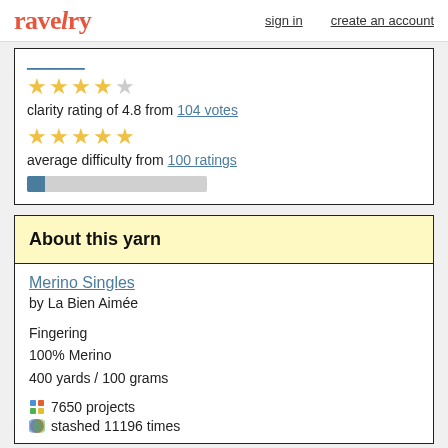ravelry  sign in  create an account
clarity rating of 4.8 from 104 votes
average difficulty from 100 ratings
About this yarn
Merino Singles
by La Bien Aimée

Fingering
100% Merino
400 yards / 100 grams
7650 projects
stashed 11196 times